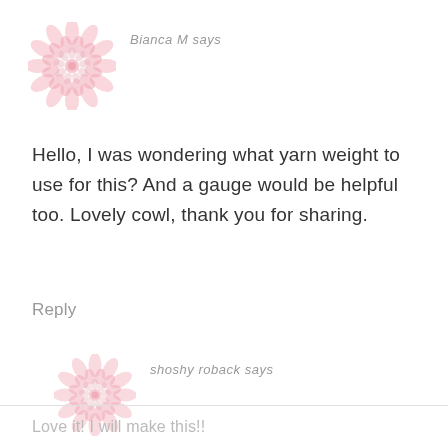[Figure (illustration): Pink floral mandala avatar for user Bianca M]
Bianca M says
Hello, I was wondering what yarn weight to use for this? And a gauge would be helpful too. Lovely cowl, thank you for sharing.
Reply
[Figure (illustration): Pink floral mandala avatar for user shoshy roback]
shoshy roback says
Love it! I will make this!!